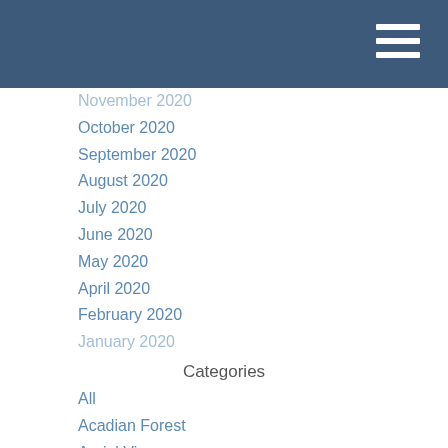November 2020
October 2020
September 2020
August 2020
July 2020
June 2020
May 2020
April 2020
February 2020
January 2020
Categories
All
Acadian Forest
Aerial View
Albert County
Alma
Alma Beach
Alma Wharf
Amazing Places
Anemone
Apps
Atlantic Salmon
Autumn
Bay Of Fundy
Bee Bash
Bee Wise Beekeeping